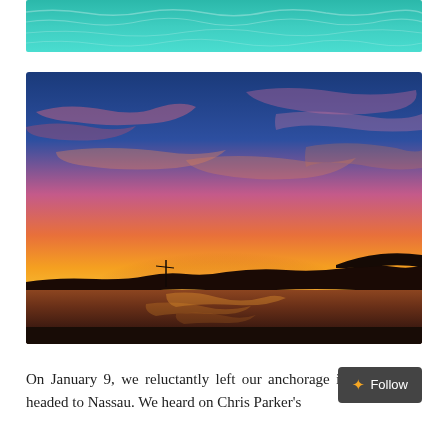[Figure (photo): Close-up of turquoise ocean water with gentle waves, partial view cropped at top of page]
[Figure (photo): Dramatic sunset over a calm bay with silhouetted shoreline and a sailboat mast visible; sky is vivid orange, yellow, pink, and deep blue with wispy clouds]
On January 9, we reluctantly left our anchorage in the Berries headed to Nassau. We heard on Chris Parker's